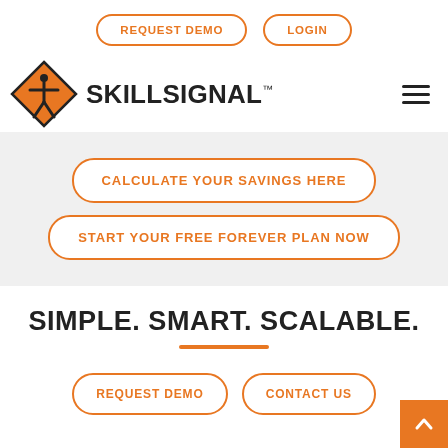REQUEST DEMO | LOGIN
[Figure (logo): SkillSignal logo: orange diamond with worker figure icon and SKILLSIGNAL text]
CALCULATE YOUR SAVINGS HERE
START YOUR FREE FOREVER PLAN NOW
SIMPLE. SMART. SCALABLE.
REQUEST DEMO | CONTACT US